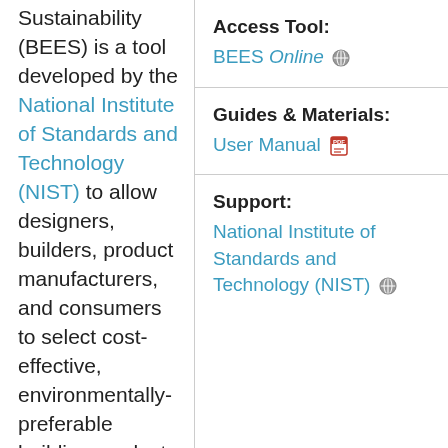Sustainability (BEES) is a tool developed by the National Institute of Standards and Technology (NIST) to allow designers, builders, product manufacturers, and consumers to select cost-effective, environmentally-preferable building products based on consensus standards and designed to be
Access Tool:
BEES Online
Guides & Materials:
User Manual
Support:
National Institute of Standards and Technology (NIST)